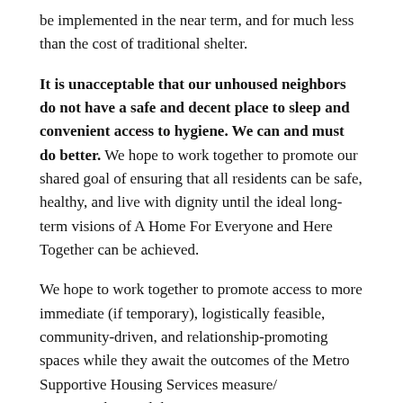be implemented in the near term, and for much less than the cost of traditional shelter.
It is unacceptable that our unhoused neighbors do not have a safe and decent place to sleep and convenient access to hygiene. We can and must do better. We hope to work together to promote our shared goal of ensuring that all residents can be safe, healthy, and live with dignity until the ideal long-term visions of A Home For Everyone and Here Together can be achieved.
We hope to work together to promote access to more immediate (if temporary), logistically feasible, community-driven, and relationship-promoting spaces while they await the outcomes of the Metro Supportive Housing Services measure/ HereTogether, and the